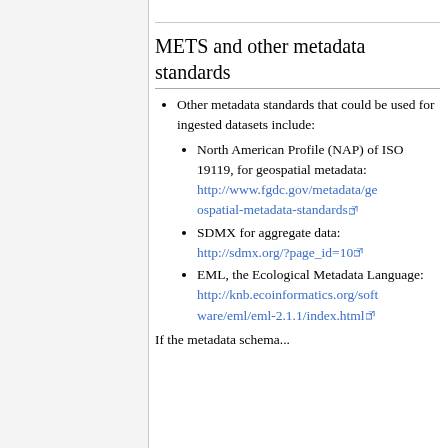METS and other metadata standards
Other metadata standards that could be used for ingested datasets include:
North American Profile (NAP) of ISO 19119, for geospatial metadata: http://www.fgdc.gov/metadata/geospatial-metadata-standards
SDMX for aggregate data: http://sdmx.org/?page_id=10
EML, the Ecological Metadata Language: http://knb.ecoinformatics.org/software/eml/eml-2.1.1/index.html
If the metadata schema...